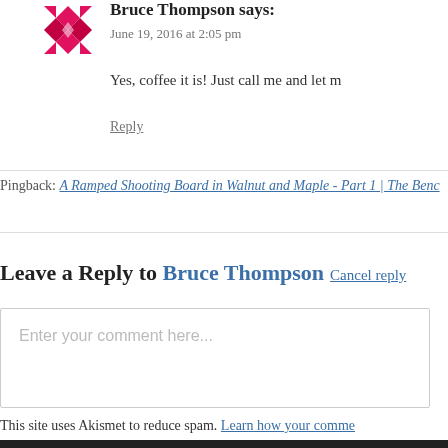[Figure (illustration): Pink/magenta quilt-pattern avatar icon]
Bruce Thompson says:
June 19, 2016 at 2:05 pm
Yes, coffee it is! Just call me and let m
Reply
Pingback: A Ramped Shooting Board in Walnut and Maple - Part 1 | The Benc
Leave a Reply to Bruce Thompson Cancel reply
Enter your comment here...
This site uses Akismet to reduce spam. Learn how your comme